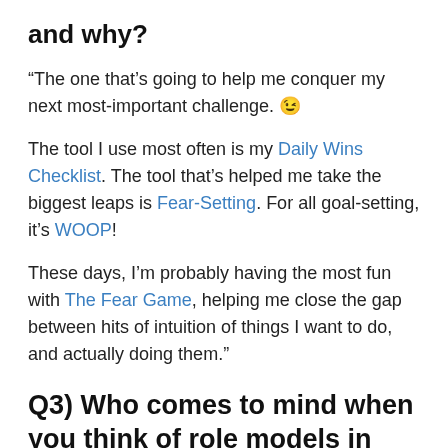and why?
“The one that’s going to help me conquer my next most-important challenge. 😉
The tool I use most often is my Daily Wins Checklist. The tool that’s helped me take the biggest leaps is Fear-Setting. For all goal-setting, it’s WOOP!
These days, I’m probably having the most fun with The Fear Game, helping me close the gap between hits of intuition of things I want to do, and actually doing them.”
Q3) Who comes to mind when you think of role models in your field? How have they influenced your life?